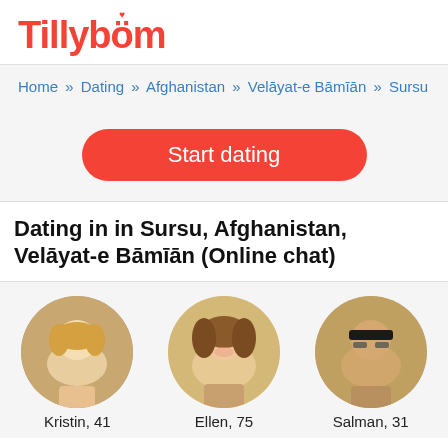Tillyböm
Home » Dating » Afghanistan » Velāyat-e Bāmīān » Sursu
Start dating
Dating in in Sursu, Afghanistan, Velāyat-e Bāmīān (Online chat)
[Figure (photo): Profile photo of Kristin, 41 — woman with blonde hair smiling]
Kristin, 41
[Figure (photo): Profile photo of Ellen, 75 — woman with curly brown hair smiling]
Ellen, 75
[Figure (photo): Profile photo of Salman, 31 — man with glasses]
Salman, 31